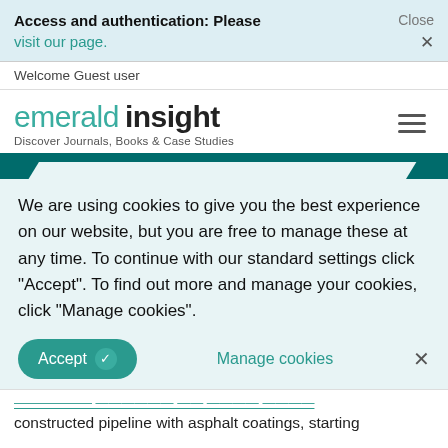Access and authentication: Please visit our page.
Close ×
Welcome Guest user
[Figure (logo): Emerald Insight logo with tagline 'Discover Journals, Books & Case Studies']
We are using cookies to give you the best experience on our website, but you are free to manage these at any time. To continue with our standard settings click "Accept". To find out more and manage your cookies, click "Manage cookies".
Accept  ✓  Manage cookies  ×
constructed pipeline with asphalt coatings, starting